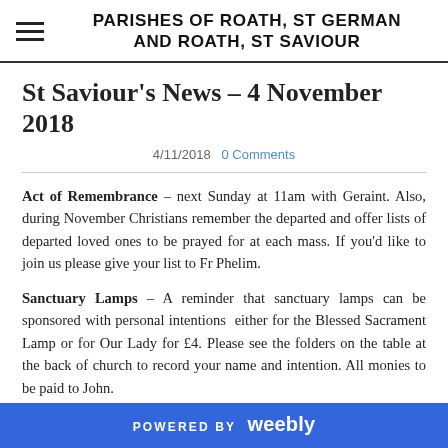PARISHES OF ROATH, ST GERMAN AND ROATH, ST SAVIOUR
St Saviour's News – 4 November 2018
4/11/2018   0 Comments
Act of Remembrance – next Sunday at 11am with Geraint. Also, during November Christians remember the departed and offer lists of departed loved ones to be prayed for at each mass. If you'd like to join us please give your list to Fr Phelim.
Sanctuary Lamps – A reminder that sanctuary lamps can be sponsored with personal intentions  either for the Blessed Sacrament Lamp or for Our Lady for £4. Please see the folders on the table at the back of church to record your name and intention. All monies to be paid to John.
POWERED BY weebly